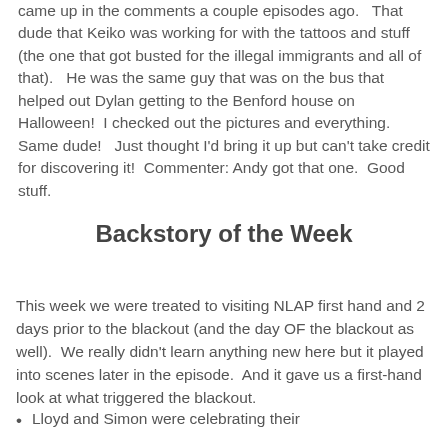came up in the comments a couple episodes ago.  That dude that Keiko was working for with the tattoos and stuff (the one that got busted for the illegal immigrants and all of that).   He was the same guy that was on the bus that helped out Dylan getting to the Benford house on Halloween!  I checked out the pictures and everything.  Same dude!   Just thought I'd bring it up but can't take credit for discovering it!  Commenter: Andy got that one.  Good stuff.
Backstory of the Week
This week we were treated to visiting NLAP first hand and 2 days prior to the blackout (and the day OF the blackout as well).  We really didn't learn anything new here but it played into scenes later in the episode.  And it gave us a first-hand look at what triggered the blackout.
Lloyd and Simon were celebrating their